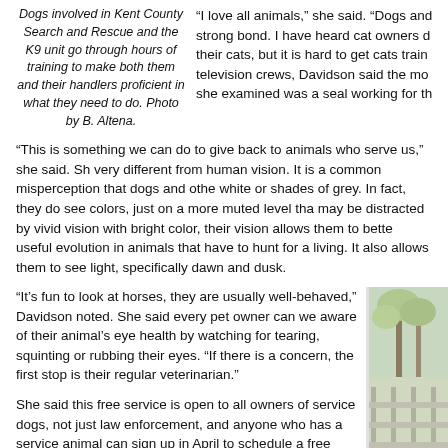Dogs involved in Kent County Search and Rescue and the K9 unit go through hours of training to make both them and their handlers proficient in what they need to do. Photo by B. Altena.
“I love all animals,” she said. “Dogs and strong bond. I have heard cat owners d their cats, but it is hard to get cats train television crews, Davidson said the mo she examined was a seal working for th
“This is something we can do to give back to animals who serve us,” she said. Sh very different from human vision. It is a common misperception that dogs and othe white or shades of grey. In fact, they do see colors, just on a more muted level tha may be distracted by vivid vision with bright color, their vision allows them to bette useful evolution in animals that have to hunt for a living. It also allows them to see light, specifically dawn and dusk.
“It’s fun to look at horses, they are usually well-behaved,” Davidson noted. She said every pet owner can we aware of their animal’s eye health by watching for tearing, squinting or rubbing their eyes. “If there is a concern, the first stop is their regular veterinarian.”
She said this free service is open to all owners of service dogs, not just law enforcement, and anyone who has a service animal can sign up in April to schedule a free evaluation. “We do this annually,” she said. Information can be found at the American College of Veterinary Ophthalmologist (ACVO) website at http://www.acvo.org.
[Figure (photo): Partial photo of outdoor scene with trees and a fence, visible in right column]
Over the past eight years over 45,000 animals have benefited from